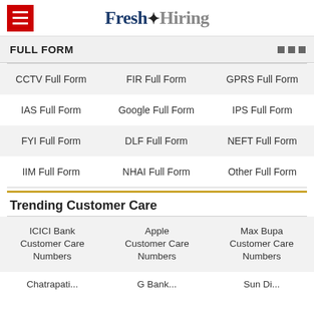Fresh Hiring
FULL FORM
| CCTV Full Form | FIR Full Form | GPRS Full Form |
| IAS Full Form | Google Full Form | IPS Full Form |
| FYI Full Form | DLF Full Form | NEFT Full Form |
| IIM Full Form | NHAI Full Form | Other Full Form |
Trending Customer Care
| ICICI Bank Customer Care Numbers | Apple Customer Care Numbers | Max Bupa Customer Care Numbers |
| Chatrapati... | G Bank... | Sun Di... |